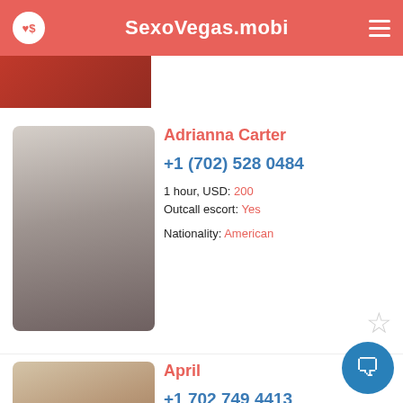SexoVegas.mobi
Adrianna Carter
+1 (702) 528 0484
1 hour, USD: 200
Outcall escort: Yes
Nationality: American
April
+1 702 749 4413
1 hour, USD: 200